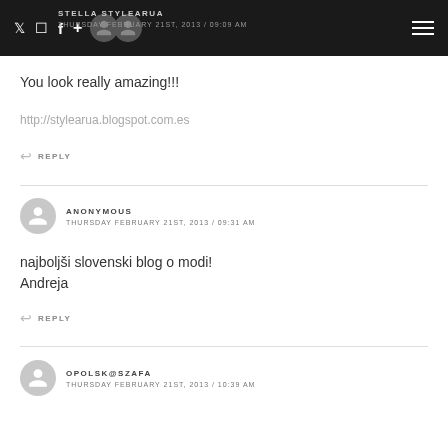STELLA STYLEARUA — THURSDAY FEBRUARY 21ST, 2013 / 09:09 AM
You look really amazing!!!
http://stylearua.blogspot.com.es
↩ REPLY
ANONYMOUS — THURSDAY FEBRUARY 21ST, 2013 / 09:31 AM
najboljši slovenski blog o modi!
Andreja
↩ REPLY
OPOLSK@SZAFA — THURSDAY FEBRUARY 21ST, 2013 / 10:39 AM